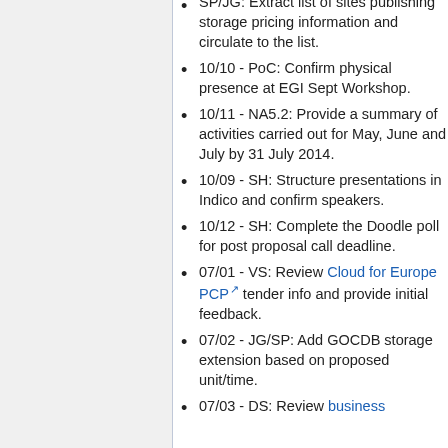SP/JG: Extract list of sites publishing storage pricing information and circulate to the list.
10/10 - PoC: Confirm physical presence at EGI Sept Workshop.
10/11 - NA5.2: Provide a summary of activities carried out for May, June and July by 31 July 2014.
10/09 - SH: Structure presentations in Indico and confirm speakers.
10/12 - SH: Complete the Doodle poll for post proposal call deadline.
07/01 - VS: Review Cloud for Europe PCP tender info and provide initial feedback.
07/02 - JG/SP: Add GOCDB storage extension based on proposed unit/time.
07/03 - DS: Review business